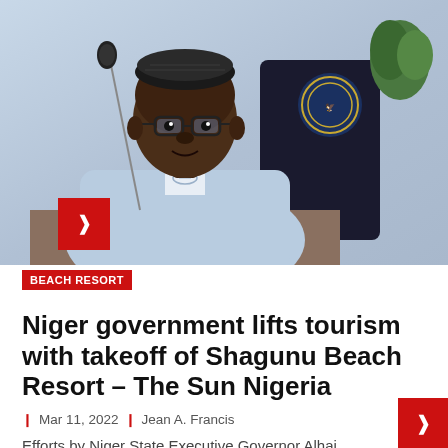[Figure (photo): Nigerian government official, a man wearing glasses and a light blue traditional attire (babariga), seated at a desk with a microphone in front of him. A Nigerian government emblem/coat of arms is visible on a chair in the background.]
BEACH RESORT
Niger government lifts tourism with takeoff of Shagunu Beach Resort – The Sun Nigeria
Mar 11, 2022  Jean A. Francis
Efforts by Niger State Executive Governor Alhaji